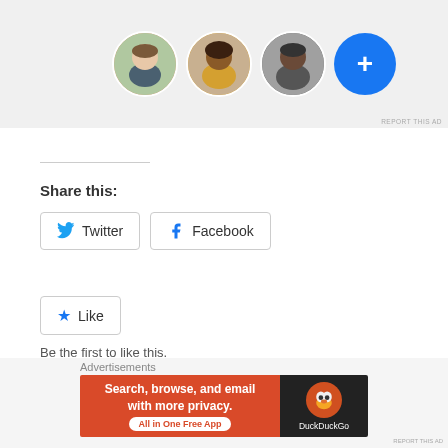[Figure (screenshot): Ad banner showing three circular profile photo avatars and a blue plus circle button on a light gray background, with REPORT THIS AD text bottom right]
REPORT THIS AD
Share this:
[Figure (screenshot): Twitter share button with bird icon and Facebook share button with f icon]
[Figure (screenshot): Like button with blue star icon and Like text]
Be the first to like this.
Related
[Figure (screenshot): DuckDuckGo advertisement banner: 'Search, browse, and email with more privacy. All in One Free App' on orange background with DuckDuckGo logo on dark background]
Advertisements
REPORT THIS AD